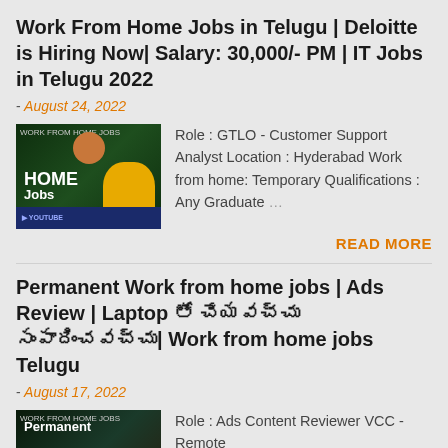Work From Home Jobs in Telugu | Deloitte is Hiring Now| Salary: 30,000/- PM | IT Jobs in Telugu 2022
- August 24, 2022
[Figure (photo): Thumbnail image for Telugu work from home jobs video, showing a man in yellow shirt with HOME Jobs text overlay]
Role : GTLO - Customer Support Analyst Location : Hyderabad Work from home: Temporary Qualifications : Any Graduate …
READ MORE
Permanent Work from home jobs | Ads Review | Laptop తో చేయవచ్చు సంపాదించవచ్చు| Work from home jobs Telugu
- August 17, 2022
[Figure (photo): Thumbnail image for Permanent work from home jobs Telugu video with Permanent text overlay]
Role : Ads Content Reviewer VCC - Remote